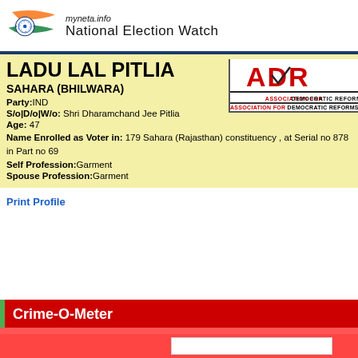myneta.info National Election Watch
LADU LAL PITLIA
SAHARA (BHILWARA)
[Figure (logo): ADR Association for Democratic Reforms logo]
Party:IND
S/o|D/o|W/o: Shri Dharamchand Jee Pitlia
Age: 47
Name Enrolled as Voter in: 179 Sahara (Rajasthan) constituency , at Serial no 878 in Part no 69
Self Profession:Garment
Spouse Profession:Garment
Print Profile
Crime-O-Meter